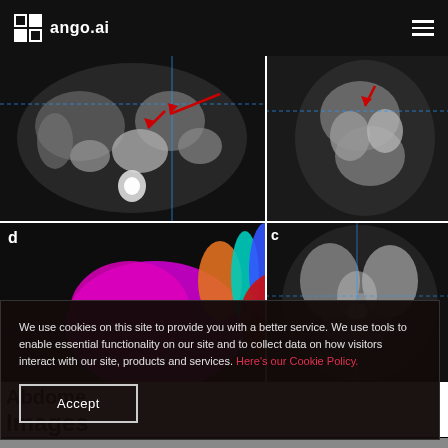ango.ai
[Figure (photo): CT scan axial view of abdomen with red arrow annotation and crosshair lines]
[Figure (photo): CT scan sagittal view of abdomen with red arrow annotation]
[Figure (photo): 3D rendered colorful anatomical model of abdominal organs labeled 'd']
[Figure (photo): CT scan coronal view of abdomen labeled 'c']
We use cookies on this site to provide you with a better service. We use tools to enable essential functionality on our site and to collect data on how visitors interact with our site, products and services. Here's our Cookie Policy.
Accept
Abdome
Images